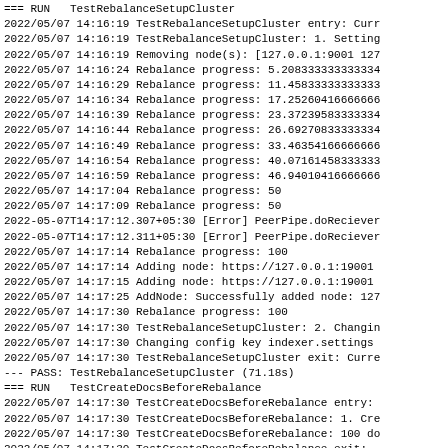=== RUN   TestRebalanceSetupCluster
2022/05/07 14:16:19 TestRebalanceSetupCluster entry: Curr
2022/05/07 14:16:19 TestRebalanceSetupCluster: 1. Setting
2022/05/07 14:16:19 Removing node(s): [127.0.0.1:9001 127
2022/05/07 14:16:24 Rebalance progress: 5.208333333333334
2022/05/07 14:16:29 Rebalance progress: 11.45833333333333
2022/05/07 14:16:34 Rebalance progress: 17.25260416666666
2022/05/07 14:16:39 Rebalance progress: 23.37239583333334
2022/05/07 14:16:44 Rebalance progress: 26.69270833333334
2022/05/07 14:16:49 Rebalance progress: 33.46354166666666
2022/05/07 14:16:54 Rebalance progress: 40.07161458333333
2022/05/07 14:16:59 Rebalance progress: 46.94010416666666
2022/05/07 14:17:04 Rebalance progress: 50
2022/05/07 14:17:09 Rebalance progress: 50
2022-05-07T14:17:12.307+05:30 [Error] PeerPipe.doReciever
2022-05-07T14:17:12.311+05:30 [Error] PeerPipe.doReciever
2022/05/07 14:17:14 Rebalance progress: 100
2022/05/07 14:17:14 Adding node: https://127.0.0.1:19001
2022/05/07 14:17:15 Adding node: https://127.0.0.1:19001
2022/05/07 14:17:25 AddNode: Successfully added node: 127
2022/05/07 14:17:30 Rebalance progress: 100
2022/05/07 14:17:30 TestRebalanceSetupCluster: 2. Changin
2022/05/07 14:17:30 Changing config key indexer.settings
2022/05/07 14:17:30 TestRebalanceSetupCluster exit: Curre
--- PASS: TestRebalanceSetupCluster (71.18s)
=== RUN   TestCreateDocsBeforeRebalance
2022/05/07 14:17:30 TestCreateDocsBeforeRebalance entry:
2022/05/07 14:17:30 TestCreateDocsBeforeRebalance: 1. Cre
2022/05/07 14:17:30 TestCreateDocsBeforeRebalance: 100 do
2022/05/07 14:17:30 TestCreateDocsBeforeRebalance exit: